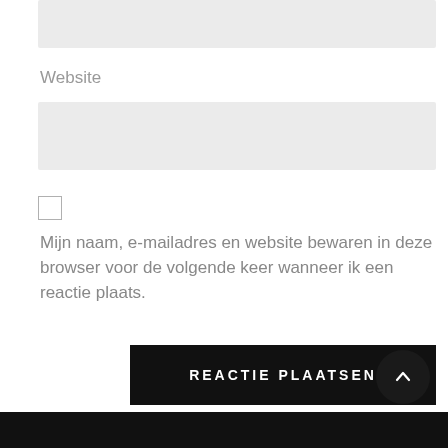Website
Mijn naam, e-mailadres en website bewaren in deze browser voor de volgende keer wanneer ik een reactie plaats.
REACTIE PLAATSEN